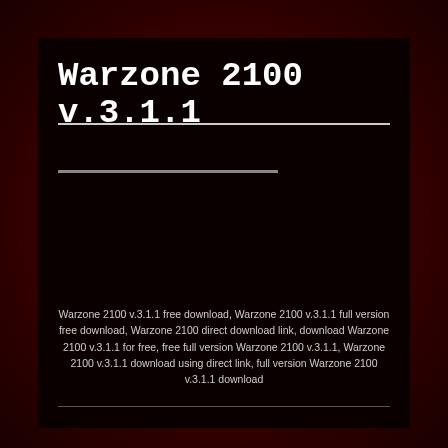Warzone 2100 v.3.1.1
Warzone 2100 v.3.1.1 free download, Warzone 2100 v.3.1.1 full version free download, Warzone 2100 direct download link, download Warzone 2100 v.3.1.1 for free, free full version Warzone 2100 v.3.1.1, Warzone 2100 v.3.1.1 download using direct link, full version Warzone 2100 v.3.1.1 download